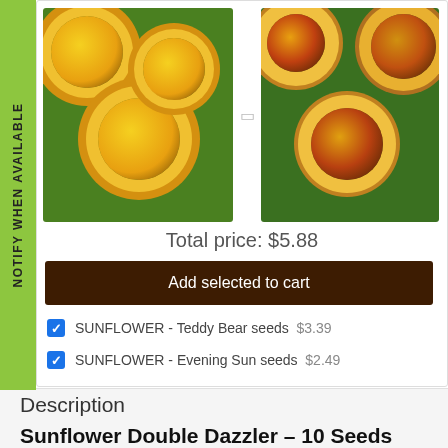[Figure (photo): Two sunflower photos side by side: left shows yellow fluffy Teddy Bear sunflowers, right shows Evening Sun sunflowers with orange and red petals]
Total price: $5.88
Add selected to cart
SUNFLOWER - Teddy Bear seeds  $3.39
SUNFLOWER - Evening Sun seeds  $2.49
Description
Sunflower Double Dazzler – 10 Seeds
(Helianthus annuus)